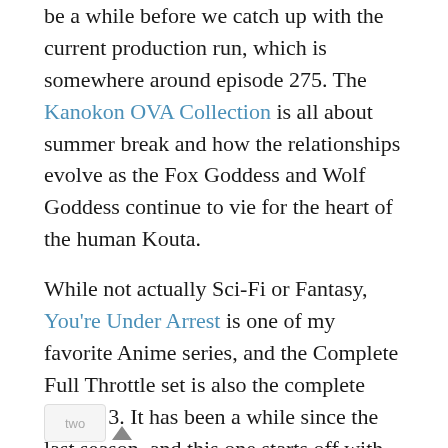be a while before we catch up with the current production run, which is somewhere around episode 275. The Kanokon OVA Collection is all about summer break and how the relationships evolve as the Fox Goddess and Wolf Goddess continue to vie for the heart of the human Kouta.
While not actually Sci-Fi or Fantasy, You're Under Arrest is one of my favorite Anime series, and the Complete Full Throttle set is also the complete season 3. It has been a while since the last season, and this one starts off with one partner having returned from forensics training in the US, while the other one just finished JSDF (Japanese Self-Defense Force) Ranger training, which is as close to Green Beret as makes no difference. If you thought these two were dangerous to everyone anywhere near them before (criminal or not), wait till you see them now! And Kekkaishi – Part 1 has two childhood friends battling it out to see who gets to